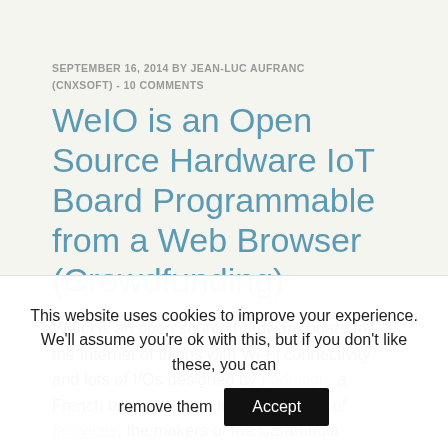SEPTEMBER 16, 2014 BY JEAN-LUC AUFRANC (CNXSOFT) - 10 COMMENTS
WeIO is an Open Source Hardware IoT Board Programmable from a Web Browser (Crowdfunding)
WeIO is an open source hardware board for the Internet of things with Wi-Fi connectivity and lots of I/Os designed by nodesign, a French based startup, in collaboration of 8devices, the makers of the Carambola boards. WeIO is
This website uses cookies to improve your experience. We'll assume you're ok with this, but if you don't like these, you can remove them  Accept